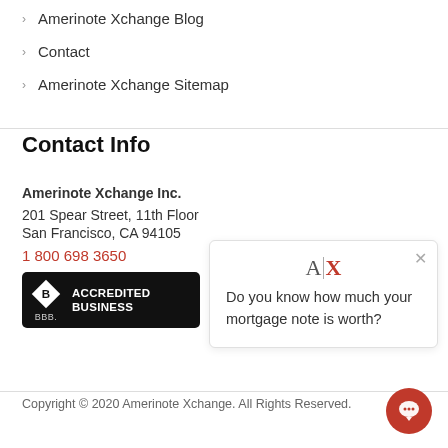Amerinote Xchange Blog
Contact
Amerinote Xchange Sitemap
Contact Info
Amerinote Xchange Inc.
201 Spear Street, 11th Floor
San Francisco, CA 94105
1 800 698 3650
[Figure (logo): BBB Accredited Business badge]
[Figure (infographic): AX logo popup with text: Do you know how much your mortgage note is worth?]
Copyright © 2020 Amerinote Xchange. All Rights Reserved.